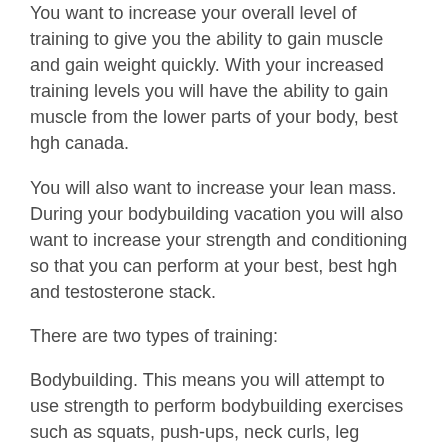You want to increase your overall level of training to give you the ability to gain muscle and gain weight quickly. With your increased training levels you will have the ability to gain muscle from the lower parts of your body, best hgh canada.
You will also want to increase your lean mass. During your bodybuilding vacation you will also want to increase your strength and conditioning so that you can perform at your best, best hgh and testosterone stack.
There are two types of training:
Bodybuilding. This means you will attempt to use strength to perform bodybuilding exercises such as squats, push-ups, neck curls, leg presses, deadlifts, overhead press, and bicep curls during your workouts, best hgh booster 20220.